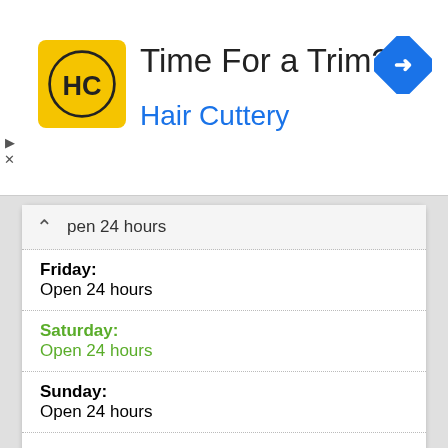[Figure (logo): Hair Cuttery ad banner with HC logo in yellow square, headline 'Time For a Trim?' and blue 'Hair Cuttery' subtext, with blue diamond navigation icon top right]
open 24 hours
Friday:
Open 24 hours
Saturday:
Open 24 hours
Sunday:
Open 24 hours